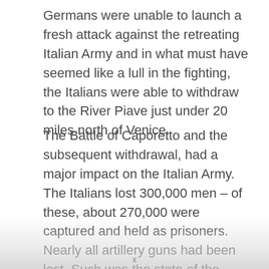Germans were unable to launch a fresh attack against the retreating Italian Army and in what must have seemed like a lull in the fighting, the Italians were able to withdraw to the River Piave just under 20 miles north of Venice.
The Battle of Caporetto and the subsequent withdrawal, had a major impact on the Italian Army. The Italians lost 300,000 men – of these, about 270,000 were captured and held as prisoners. Nearly all artillery guns had been lost. Such was the state of the Italian Army after Caporetto, the Allies sent to the region eleven divisions – six French and five British. Both forces were assisted by air power. Ironically the